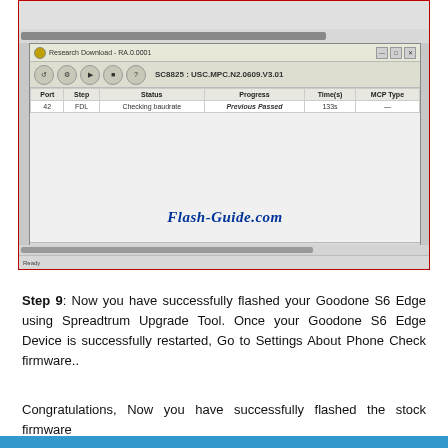[Figure (screenshot): Screenshot of Research Download tool (version RA.0.0001) showing SC8825:USC.MPC.N2.0609.V3.01 firmware flash utility with a table row showing Port 42, Step FDL, Status Checking baudrate, Progress Previous Passed (green), Time(s) 133s, MCP Type —. A Flash-Guide.com watermark is visible in the center of the window.]
Step 9: Now you have successfully flashed your Goodone S6 Edge using Spreadtrum Upgrade Tool. Once your Goodone S6 Edge Device is successfully restarted, Go to Settings About Phone Check firmware..
Congratulations, Now you have successfully flashed the stock firmware